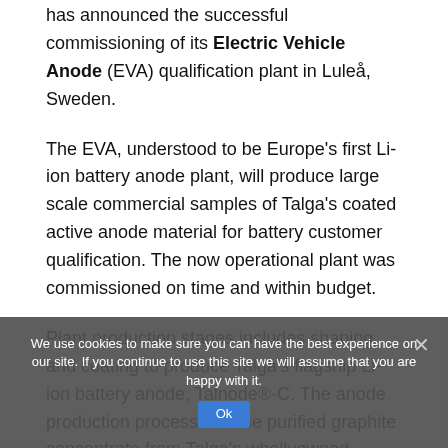has announced the successful commissioning of its Electric Vehicle Anode (EVA) qualification plant in Luleå, Sweden.
The EVA, understood to be Europe's first Li-ion battery anode plant, will produce large scale commercial samples of Talga's coated active anode material for battery customer qualification. The now operational plant was commissioned on time and within budget.
Plant production stages includes shaping and coating to produce Talga's flagship Li-ion battery anode, Talnode®-C. The anode production process will use purified graphite concentrate from Talga's whollyowned Vittangi graphite project, in line with the Company's vertically integrated business model.
The plant will be officially launched at an event on Friday 1 April 2022 attended by customers, government officials and
We use cookies to make sure you can have the best experience on our site. If you continue to use this site we will assume that you are happy with it.